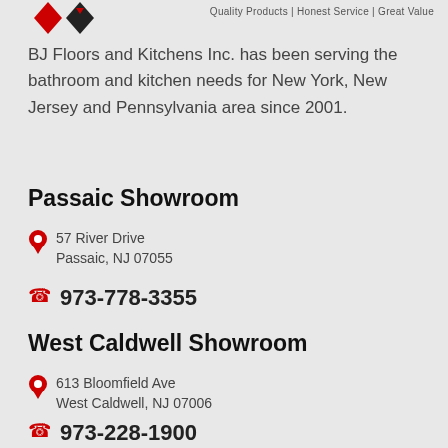[Figure (logo): BJ Floors and Kitchens logo with two diamond/heart shapes and tagline text]
BJ Floors and Kitchens Inc. has been serving the bathroom and kitchen needs for New York, New Jersey and Pennsylvania area since 2001.
Passaic Showroom
57 River Drive
Passaic, NJ 07055
973-778-3355
West Caldwell Showroom
613 Bloomfield Ave
West Caldwell, NJ 07006
973-228-1900